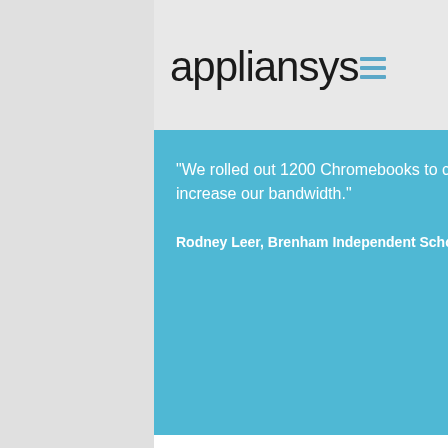[Figure (logo): appliansys logo with hamburger menu icon, dark text on gray background]
"We rolled out 1200 Chromebooks to classrooms without the need to increase our bandwidth."
Rodney Leer, Brenham Independent School District,
CACHEBOX s
April 17, 2019
ApplianSys is pleased to CACHEbox, selected to internet connection that s
Fremont adopted 1:1 lear access to Apple, YouTube students online at any on
Fremont had already und
Company
About Us
News
Management
Employment
Partners
Support
Privacy
Contact us
Legal